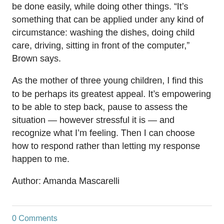be done easily, while doing other things. “It’s something that can be applied under any kind of circumstance: washing the dishes, doing child care, driving, sitting in front of the computer,” Brown says.
As the mother of three young children, I find this to be perhaps its greatest appeal. It’s empowering to be able to step back, pause to assess the situation — however stressful it is — and recognize what I’m feeling. Then I can choose how to respond rather than letting my response happen to me.
Author: Amanda Mascarelli
0 Comments
Hidden Power of Everyday experiences: Anchoring those feel good moments in a